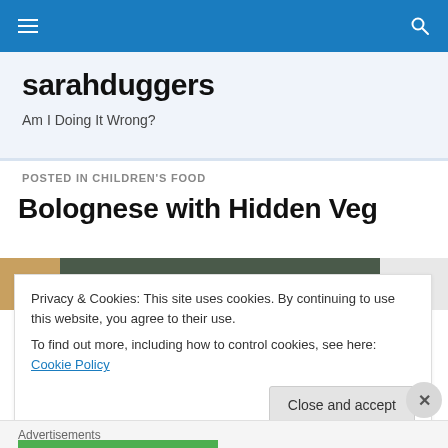sarahduggers navigation bar
sarahduggers
Am I Doing It Wrong?
POSTED IN CHILDREN'S FOOD
Bolognese with Hidden Veg
[Figure (photo): Partial photo of food dish at the top of the article]
Privacy & Cookies: This site uses cookies. By continuing to use this website, you agree to their use.
To find out more, including how to control cookies, see here: Cookie Policy
Close and accept
Advertisements